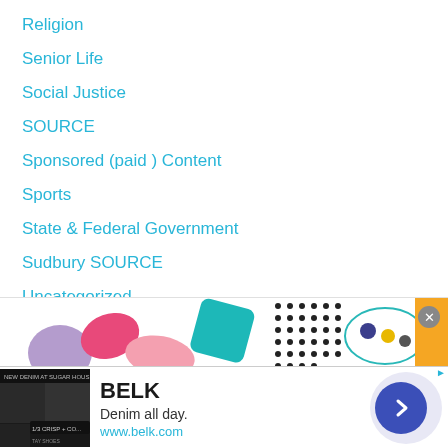Religion
Senior Life
Social Justice
SOURCE
Sponsored (paid ) Content
Sports
State & Federal Government
Sudbury SOURCE
Uncategorized
Weather
[Figure (illustration): Colorful abstract ad banner with pink, teal, dotted, and orange shapes]
[Figure (screenshot): BELK advertisement: Denim all day. www.belk.com with fashion images and a blue arrow button]